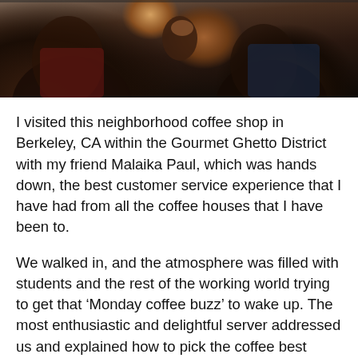[Figure (photo): Photo of people at a coffee shop, dark/dimly lit scene, one person holding a coffee cup with a logo on it]
I visited this neighborhood coffee shop in Berkeley, CA within the Gourmet Ghetto District with my friend Malaika Paul, which was hands down, the best customer service experience that I have had from all the coffee houses that I have been to.
We walked in, and the atmosphere was filled with students and the rest of the working world trying to get that ‘Monday coffee buzz’ to wake up. The most enthusiastic and delightful server addressed us and explained how to pick the coffee best suited for us and our needs. My love for coffee runs deep, deep like the roots of an old southern oak tree. So I’m leery when people boast about how great there coffee is supposed to be, and it